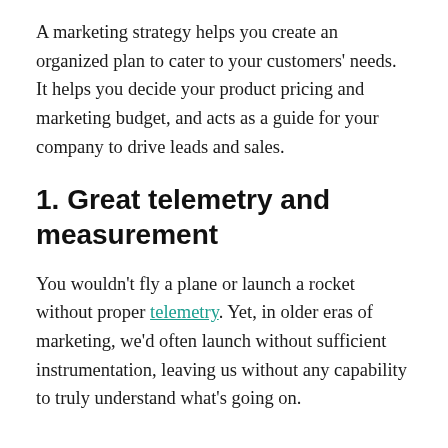A marketing strategy helps you create an organized plan to cater to your customers' needs. It helps you decide your product pricing and marketing budget, and acts as a guide for your company to drive leads and sales.
1. Great telemetry and measurement
You wouldn't fly a plane or launch a rocket without proper telemetry. Yet, in older eras of marketing, we'd often launch without sufficient instrumentation, leaving us without any capability to truly understand what's going on.